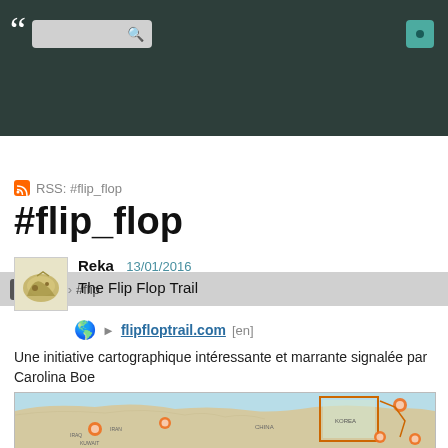« [search] [button]
#f  #fl  #flip
RSS: #flip_flop
#flip_flop
Reka  13/01/2016
The Flip Flop Trail
▸ flipfloptrail.com [en]
Une initiative cartographique intéressante et marrante signalée par Carolina Boe
[Figure (map): Map showing Middle East and East Asia regions with orange location markers and a highlighted Korea region box, from the Flip Flop Trail website.]